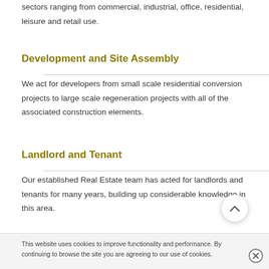sectors ranging from commercial, industrial, office, residential, leisure and retail use.
Development and Site Assembly
We act for developers from small scale residential conversion projects to large scale regeneration projects with all of the associated construction elements.
Landlord and Tenant
Our established Real Estate team has acted for landlords and tenants for many years, building up considerable knowledge in this area.
This website uses cookies to improve functionality and performance. By continuing to browse the site you are agreeing to our use of cookies.